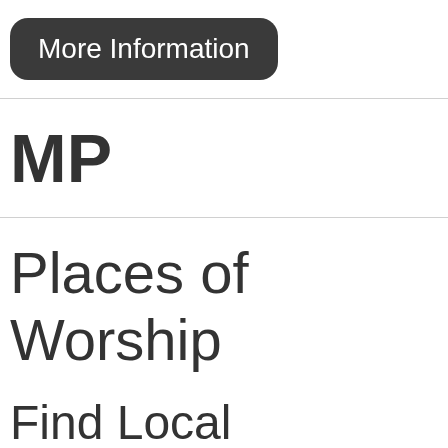More Information
MP
Places of Worship
Find Local Churches & Worship